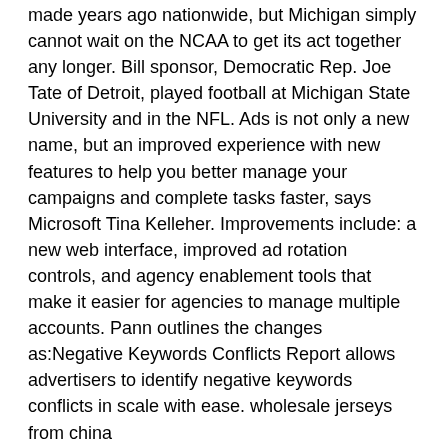made years ago nationwide, but Michigan simply cannot wait on the NCAA to get its act together any longer. Bill sponsor, Democratic Rep. Joe Tate of Detroit, played football at Michigan State University and in the NFL. Ads is not only a new name, but an improved experience with new features to help you better manage your campaigns and complete tasks faster, says Microsoft Tina Kelleher. Improvements include: a new web interface, improved ad rotation controls, and agency enablement tools that make it easier for agencies to manage multiple accounts. Pann outlines the changes as:Negative Keywords Conflicts Report allows advertisers to identify negative keywords conflicts in scale with ease. wholesale jerseys from china
wholesale jerseys Admission will be refused if tickets are invalid Enterprise Center cannot refund https://www.wholesalesjerseysupply.com third party tickets You will be responsible for contacting the third party if there is a problem with your tickets Enterprise Center will